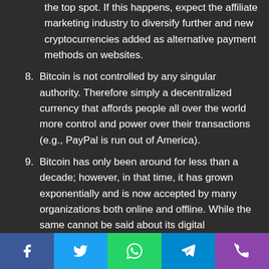(continuation) the top spot. If this happens, expect the affiliate marketing industry to diversify further and new cryptocurrencies added as alternative payment methods on websites.
8. Bitcoin is not controlled by any singular authority. Therefore simply a decentralized currency that affords people all over the world more control and power over their transactions (e.g., PayPal is run out of America).
9. Bitcoin has only been around for less than a decade; however, in that time, it has grown exponentially and is now accepted by many organizations both online and offline. While the same cannot be said about its digital competition (yet), this could change with time as bitcoin gains more trust amongst internet users.
10. This is an attractive feature that has sparked interest from many different types of marketers. Some of these